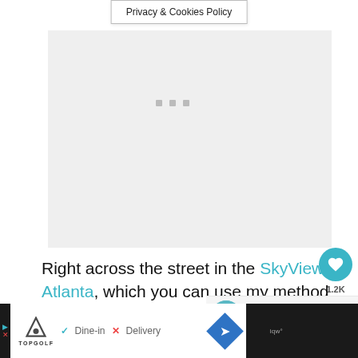Privacy & Cookies Policy
[Figure (other): Gray placeholder area with three small square dots indicating loading content]
Right across the street in the SkyView Atlanta, which you can use my method for getting free Groupon Bucks and get a free year pass and ride for free all year or just purchase a 1-time ride.
[Figure (other): WHAT'S NEXT panel: circular thumbnail of water/beach scene with text '19 Free Things to do in...']
[Figure (other): Bottom advertisement banner: TopGolf ad with Dine-in and Delivery options and navigation arrow icon]